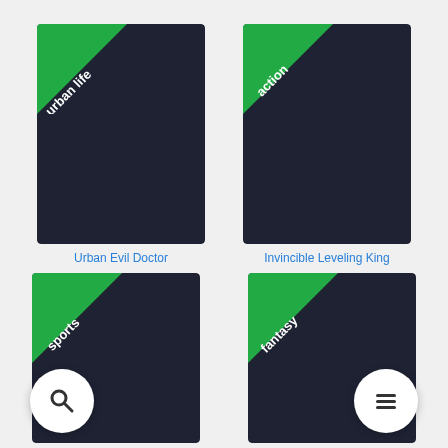[Figure (illustration): Book cover with dark background and green 'urban life' corner badge]
Urban Evil Doctor
[Figure (illustration): Book cover with dark background and green 'action' corner badge]
Invincible Leveling King
[Figure (illustration): Book cover with dark background and green 'sports' corner badge]
[Figure (illustration): Book cover with dark background and green 'fantasy' corner badge]